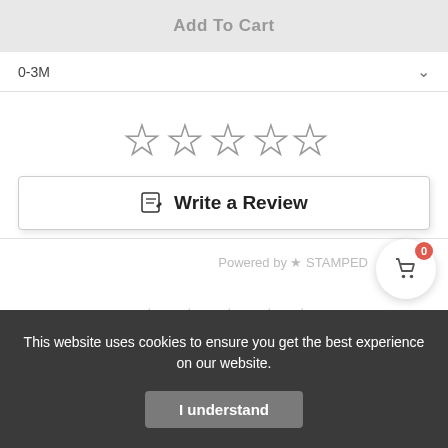Add To Cart
0-3M
[Figure (other): Five empty star rating icons for user input]
[Figure (other): Write a Review button with pencil icon]
Powered by STAMPED
[Figure (other): Shopping cart icon with badge showing 0]
[Figure (other): Five small empty star icons]
Be the first to review this item
This website uses cookies to ensure you get the best experience on our website.
I understand